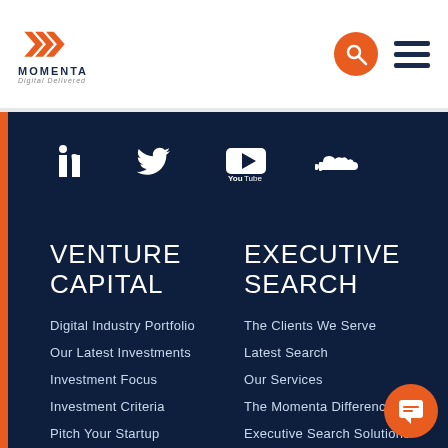[Figure (logo): Momenta Digital Delivered logo with orange arrow chevrons]
[Figure (other): Social media icons: LinkedIn, Twitter, YouTube, SoundCloud on dark navy background]
VENTURE CAPITAL
EXECUTIVE SEARCH
Digital Industry Portfolio
Our Latest Investments
Investment Focus
Investment Criteria
Pitch Your Startup
The Clients We Serve
Latest Search
Our Services
The Momenta Diffe...
Executive Search Solutions